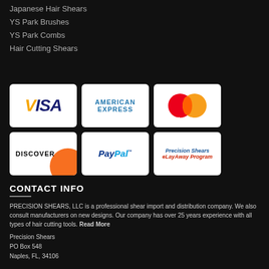Japanese Hair Shears
YS Park Brushes
YS Park Combs
Hair Cutting Shears
[Figure (other): Six payment method logos arranged in a 3x2 grid: Visa, American Express, MasterCard, Discover, PayPal, Precision Shears eLayAway Program]
CONTACT INFO
PRECISION SHEARS, LLC is a professional shear import and distribution company. We also consult manufacturers on new designs. Our company has over 25 years experience with all types of hair cutting tools. Read More
Precision Shears
PO Box 548
Naples, FL, 34106